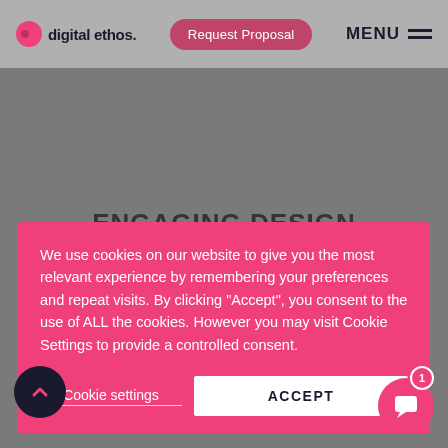digital ethos. | Request Proposal | MENU
ENGAGING DESIGN
We use cookies on our website to give you the most relevant experience by remembering your preferences and repeat visits. By clicking “Accept”, you consent to the use of ALL the cookies. However you may visit Cookie Settings to provide a controlled consent.
Cookie settings | ACCEPT
Edinburgh.
Unleash unmatched creativity and watch your brand soar.